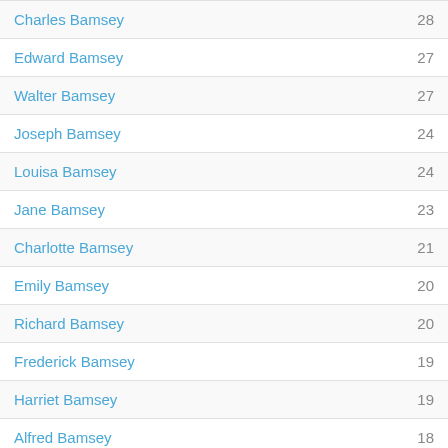| Name | Number |
| --- | --- |
| Charles Bamsey | 28 |
| Edward Bamsey | 27 |
| Walter Bamsey | 27 |
| Joseph Bamsey | 24 |
| Louisa Bamsey | 24 |
| Jane Bamsey | 23 |
| Charlotte Bamsey | 21 |
| Emily Bamsey | 20 |
| Richard Bamsey | 20 |
| Frederick Bamsey | 19 |
| Harriet Bamsey | 19 |
| Alfred Bamsey | 18 |